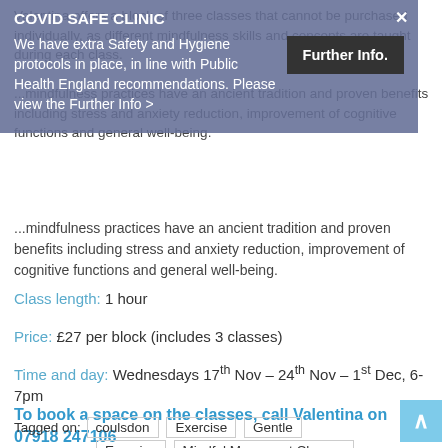Valentina offers a block of three classes that cannot be purchased individually, as different mindfulness skills and concepts are taught during each class.
COVID SAFE CLINIC
We have extra Safety and Hygiene protocols in place, in line with Public Health England recommendations. Please view the Further Info >
Further Info.
...mindfulness practices have an ancient tradition and proven benefits including stress and anxiety reduction, improvement of cognitive functions and general well-being.
Class length: 1 hour
Price: £27 per block (includes 3 classes)
Time and day: Wednesdays 17th Nov – 24th Nov – 1st Dec, 6-7pm
To book a space on the classes, call Valentina on 07918 247106
Tagged on: coulsdon   Exercise   Gentle Exercise   Mindful Movement Classes